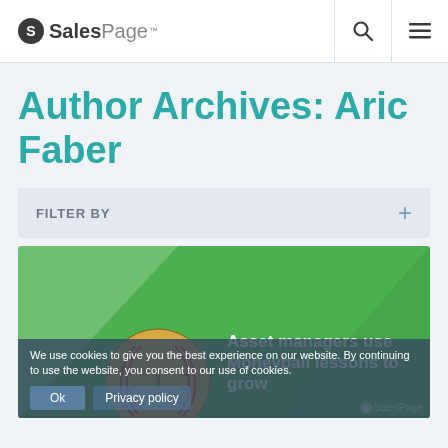SalesPage
Author Archives: Aric Faber
FILTER BY
[Figure (illustration): Green geometric background with a baseball covered in dollar bill imagery. Overlay text reads: Asset managers use Moneyball lessons to grow. SalesPage logo at bottom right.]
We use cookies to give you the best experience on our website. By continuing to use the website, you consent to our use of cookies.
Ok   Privacy policy